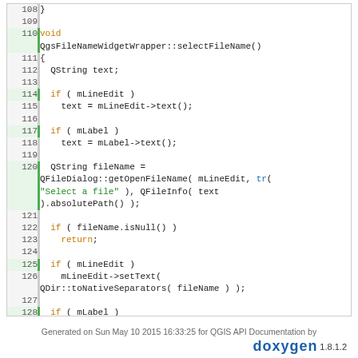[Figure (screenshot): Source code listing showing C++ function QgsFileNameWidgetWrapper::selectFileName() with line numbers 108-130, syntax highlighted in Doxygen style]
Generated on Sun May 10 2015 16:33:25 for QGIS API Documentation by doxygen 1.8.1.2